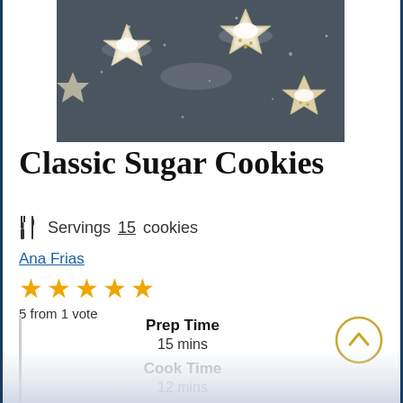[Figure (photo): Star-shaped frosted sugar cookies dusted with powdered sugar on a dark background]
Classic Sugar Cookies
Servings 15 cookies
Ana Frias
5 from 1 vote
Prep Time
15 mins
Cook Time
12 mins